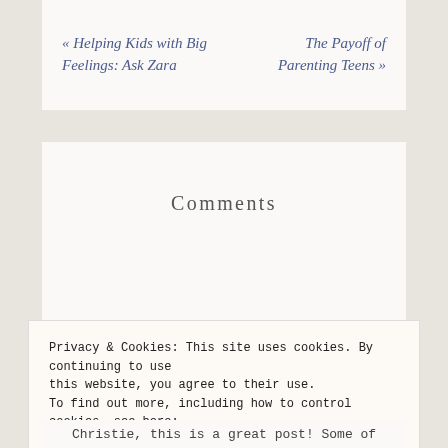« Helping Kids with Big Feelings: Ask Zara
The Payoff of Parenting Teens »
Comments
Privacy & Cookies: This site uses cookies. By continuing to use this website, you agree to their use.
To find out more, including how to control cookies, see here: Cookie Policy
Close and accept
Christie, this is a great post! Some of